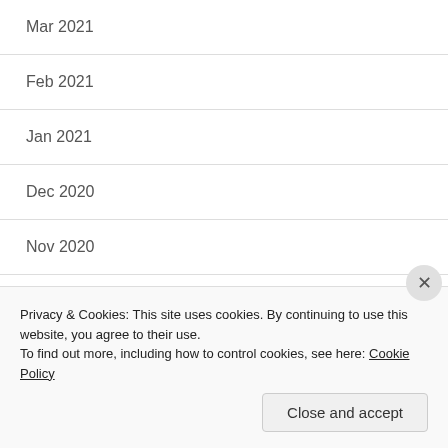Mar 2021
Feb 2021
Jan 2021
Dec 2020
Nov 2020
Oct 2020
Privacy & Cookies: This site uses cookies. By continuing to use this website, you agree to their use. To find out more, including how to control cookies, see here: Cookie Policy
Close and accept